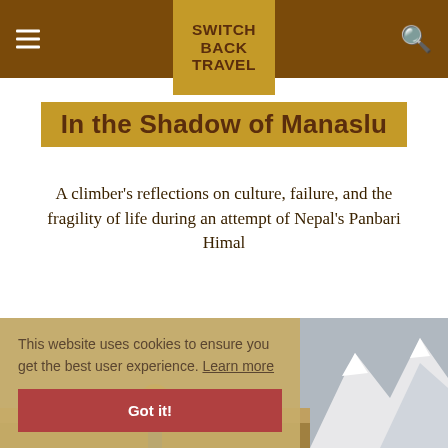Switch Back Travel
In the Shadow of Manaslu
A climber's reflections on culture, failure, and the fragility of life during an attempt of Nepal's Panbari Himal
[Figure (photo): Mountaineering scene showing a climber against snowy mountain peaks, partial view in background]
This website uses cookies to ensure you get the best user experience. Learn more
Got it!